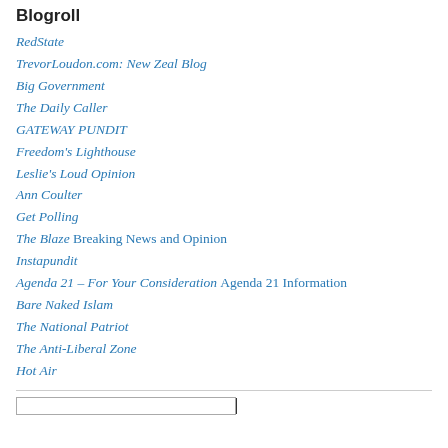Blogroll
RedState
TrevorLoudon.com: New Zeal Blog
Big Government
The Daily Caller
GATEWAY PUNDIT
Freedom's Lighthouse
Leslie's Loud Opinion
Ann Coulter
Get Polling
The Blaze Breaking News and Opinion
Instapundit
Agenda 21 – For Your Consideration Agenda 21 Information
Bare Naked Islam
The National Patriot
The Anti-Liberal Zone
Hot Air